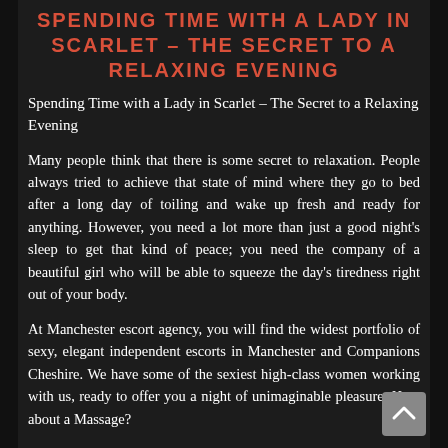SPENDING TIME WITH A LADY IN SCARLET – THE SECRET TO A RELAXING EVENING
Spending Time with a Lady in Scarlet – The Secret to a Relaxing Evening
Many people think that there is some secret to relaxation. People always tried to achieve that state of mind where they go to bed after a long day of toiling and wake up fresh and ready for anything. However, you need a lot more than just a good night's sleep to get that kind of peace; you need the company of a beautiful girl who will be able to squeeze the day's tiredness right out of your body.
At Manchester escort agency, you will find the widest portfolio of sexy, elegant independent escorts in Manchester and Companions Cheshire. We have some of the sexiest high-class women working with us, ready to offer you a night of unimaginable pleasure. How about a Massage?
We know that a gentleman like you is very adventurous, always looking to try out new things. To make sure you